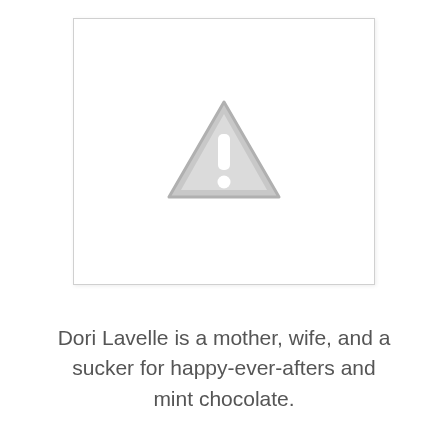[Figure (illustration): White rectangular box with a light gray warning triangle icon containing an exclamation mark in the center, indicating a missing or unavailable image.]
Dori Lavelle is a mother, wife, and a sucker for happy-ever-afters and mint chocolate.